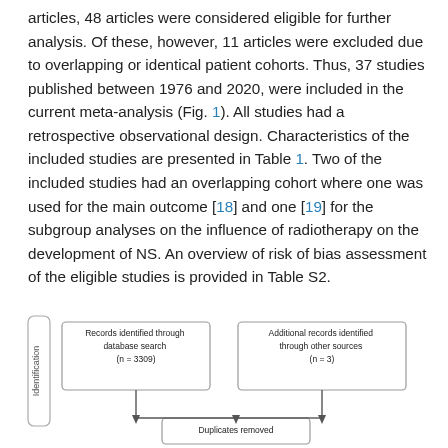articles, 48 articles were considered eligible for further analysis. Of these, however, 11 articles were excluded due to overlapping or identical patient cohorts. Thus, 37 studies published between 1976 and 2020, were included in the current meta-analysis (Fig. 1). All studies had a retrospective observational design. Characteristics of the included studies are presented in Table 1. Two of the included studies had an overlapping cohort where one was used for the main outcome [18] and one [19] for the subgroup analyses on the influence of radiotherapy on the development of NS. An overview of risk of bias assessment of the eligible studies is provided in Table S2.
[Figure (flowchart): PRISMA flowchart showing Identification stage: Records identified through database search (n = 3309) and Additional records identified through other sources (n = 3) feeding into Duplicates removed box.]